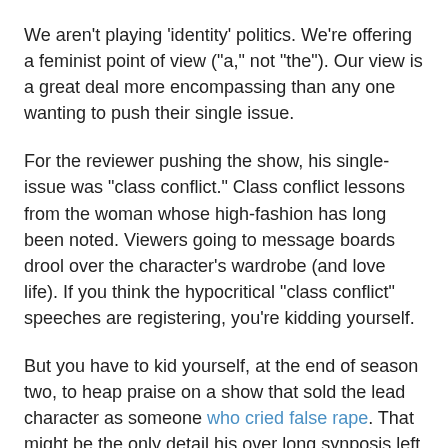We aren't playing 'identity' politics. We're offering a feminist point of view ("a," not "the"). Our view is a great deal more encompassing than any one wanting to push their single issue.
For the reviewer pushing the show, his single-issue was "class conflict." Class conflict lessons from the woman whose high-fashion has long been noted. Viewers going to message boards drool over the character's wardrobe (and love life). If you think the hypocritical "class conflict" speeches are registering, you're kidding yourself.
But you have to kid yourself, at the end of season two, to heap praise on a show that sold the lead character as someone who cried false rape. That might be the only detail his over long synposis left out. But it remains a key detail.
He's all jazzed and excited because he turned on the tube and some woman was talking about the haves and the have-nots. The fact that the character was presented as raped in the first season and then not raped in the second isn't